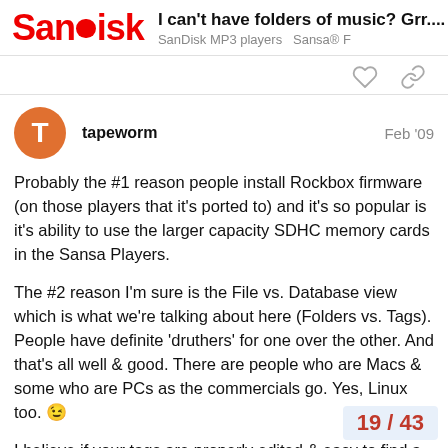SanDisk | I can't have folders of music? Grr.... | SanDisk MP3 players  Sansa® F
tapeworm  Feb '09
Probably the #1 reason people install Rockbox firmware (on those players that it's ported to) and it's so popular is it's ability to use the larger capacity SDHC memory cards in the Sansa Players.
The #2 reason I'm sure is the File vs. Database view which is what we're talking about here (Folders vs. Tags). People have definite 'druthers' for one over the other. And that's all well & good. There are people who are Macs & some who are PCs as the commercials go. Yes, Linux too. 😉
I believe if your tags are properly edited & easy to find a particular song in Database
19 / 43